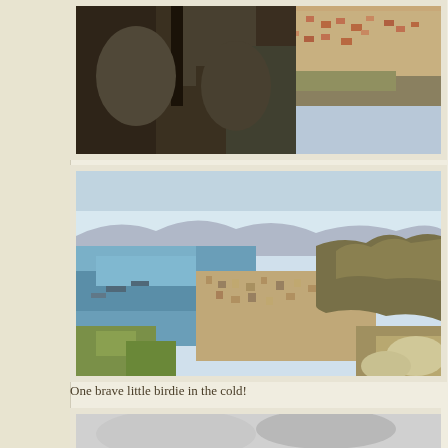[Figure (photo): Close-up of rocky cliff face with aerial view of town/suburb in background, taken from Table Mountain, Cape Town]
[Figure (photo): Aerial panoramic view of Cape Town from Table Mountain showing ocean/harbour on the left, city spread across the valley, and mountain ridgeline on the right under clear blue sky]
One brave little birdie in the cold!
[Figure (photo): Partially visible photo at bottom - appears to show a bird in cold/wintry conditions]